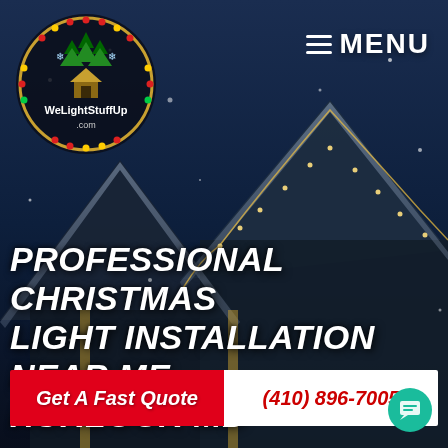[Figure (logo): WeLightStuffUp.com circular logo with Christmas trees, house icon, and colorful lights border on dark background]
≡ MENU
PROFESSIONAL CHRISTMAS LIGHT INSTALLATION NEAR ME HURLOCK MD
Get A Fast Quote
(410) 896-7005